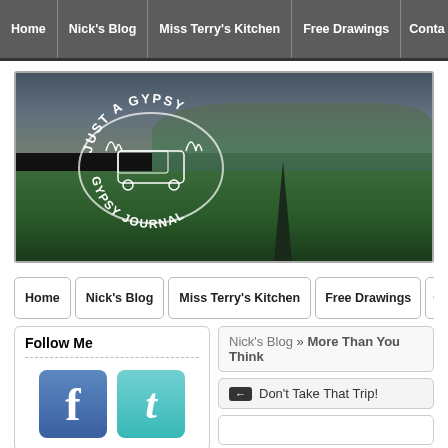Home | Nick's Blog | Miss Terry's Kitchen | Free Drawings | Conta
[Figure (screenshot): Just A Gypsy Journal banner logo with white circular text on dark background, overlaid on a mountain landscape photo with green fields, trees, and cloudy sky]
Home | Nick's Blog | Miss Terry's Kitchen | Free Drawings | Co
Follow Me
[Figure (logo): Facebook logo icon (blue square with white f)]
[Figure (logo): Twitter logo icon (teal square with white bird t)]
Nick's Blog » More Than You Think
← Don't Take That Trip!